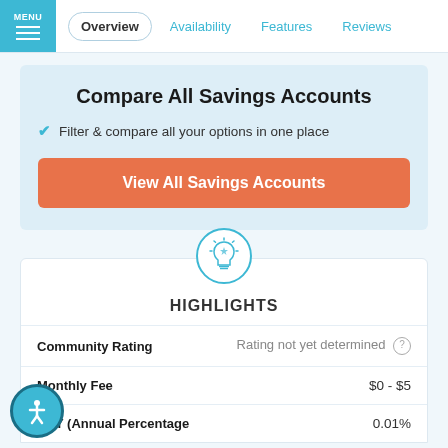MENU | Overview | Availability | Features | Reviews
Compare All Savings Accounts
Filter & compare all your options in one place
View All Savings Accounts
HIGHLIGHTS
|  |  |
| --- | --- |
| Community Rating | Rating not yet determined |
| Monthly Fee | $0 - $5 |
| APY (Annual Percentage | 0.01% |